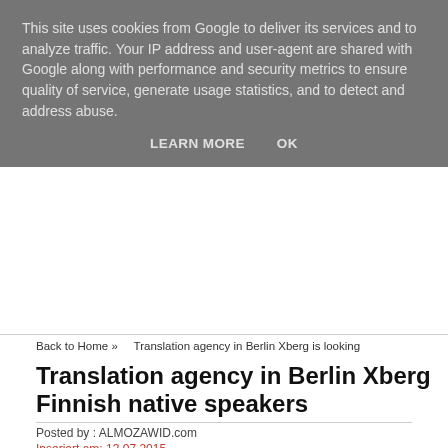This site uses cookies from Google to deliver its services and to analyze traffic. Your IP address and user-agent are shared with Google along with performance and security metrics to ensure quality of service, generate usage statistics, and to detect and address abuse.
LEARN MORE    OK
Back to Home »    Translation agency in Berlin Xberg is looking
Translation agency in Berlin Xberg Finnish native speakers
Posted by : ALMOZAWID.com
Inseriert am: 13.07.2015